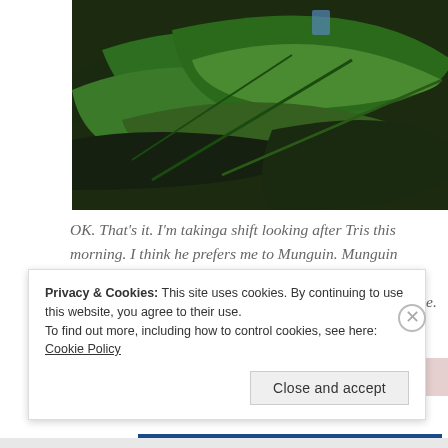[Figure (photo): Close-up photo of large green tropical leaves, dark background, possibly an animal or person partially visible]
OK. That's it. I'm takinga shift looking after Tris this morning. I think he prefers me to Munguin. Munguin reckons that looking after him involves Tris making his breakfast and bring him champagne. All I need is a cuddle.
[Figure (photo): Partial image of colorful items, possibly currency or decorated paper]
Privacy & Cookies: This site uses cookies. By continuing to use this website, you agree to their use.
To find out more, including how to control cookies, see here:
Cookie Policy
Close and accept